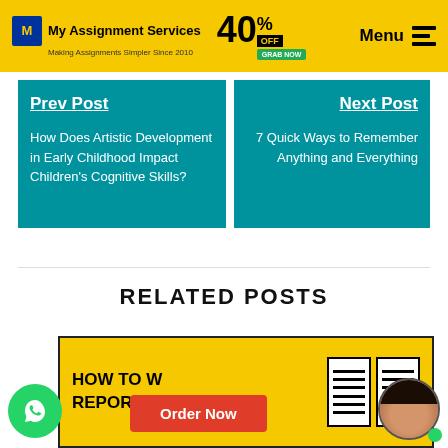My Assignment Services — Making Assignments Simpler Since 2010 | 40% OFF | GRAB NOW | Menu
Prev Post
How Does Artistic Development in Early Childhood Impact Children's Cognitive Skills?
Next Post
7 Quick Ways to Remember Anything and Everything
RELATED POSTS
[Figure (infographic): Yellow card showing 'HOW TO W... REPORT C...' with report icon graphic]
Order Now